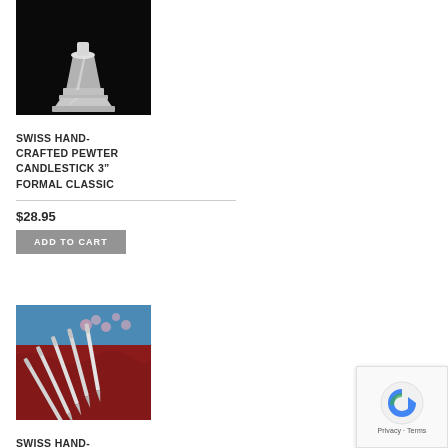[Figure (photo): A silver pewter candlestick photographed against a dark/black background]
SWISS HAND-CRAFTED PEWTER CANDLESTICK 3" FORMAL CLASSIC
$28.95
ADD TO CART
[Figure (photo): Multiple silver pewter letter openers with decorative handles arranged on red fabric with pink flowers in the background]
SWISS HAND-CRAFTED PEWTER LETTER OPENER –